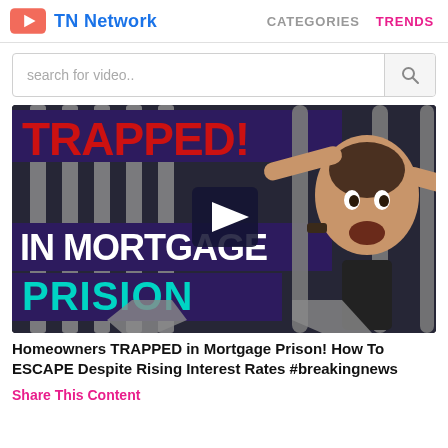TN Network   CATEGORIES   TRENDS
search for video..
[Figure (screenshot): Video thumbnail showing a man gripping prison bars with text 'TRAPPED! IN MORTGAGE PRISION' overlaid in red and teal letters on a dark background. A play button is visible in the center.]
Homeowners TRAPPED in Mortgage Prison! How To ESCAPE Despite Rising Interest Rates #breakingnews
Share This Content